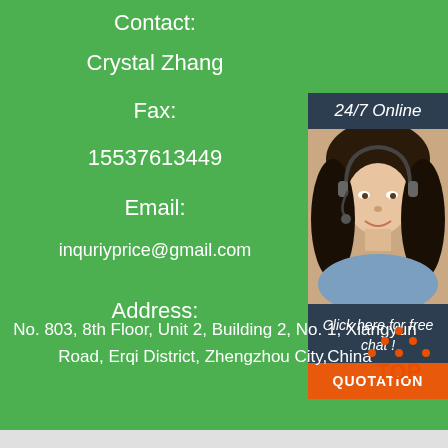Contact:
Crystal Zhang
Fax:
15537613449
Email:
inquriyprice@gmail.com
[Figure (photo): 24/7 Online customer service agent photo with headset, with Click here for free chat and QUOTATION button]
Address:
No. 803, 8th Floor, Unit 2, Building 2, No. 1, Xiangyun Road, Erqi District, Zhengzhou City,China
[Figure (logo): TOP logo with orange text and triangle icon]